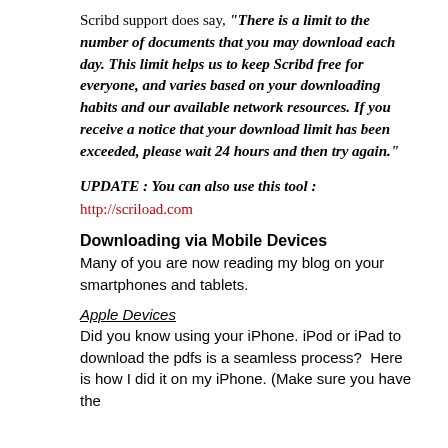Scribd support does say, "There is a limit to the number of documents that you may download each day. This limit helps us to keep Scribd free for everyone, and varies based on your downloading habits and our available network resources. If you receive a notice that your download limit has been exceeded, please wait 24 hours and then try again."
UPDATE : You can also use this tool : http://scriload.com
Downloading via Mobile Devices
Many of you are now reading my blog on your smartphones and tablets.
Apple Devices
Did you know using your iPhone. iPod or iPad to download the pdfs is a seamless process?  Here is how I did it on my iPhone. (Make sure you have the